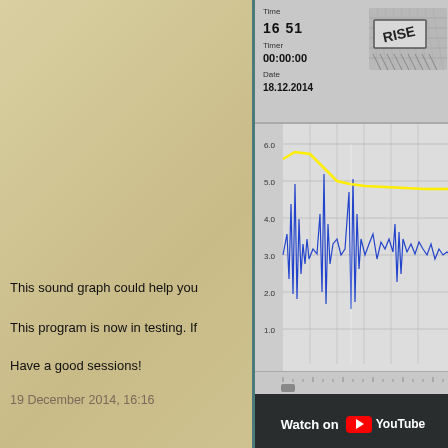[Figure (screenshot): Screenshot of a sound graph monitoring application showing time 16:51, timer 00:00:00, date 18.12.2014, with a RISE label and a waveform/line graph below, embedded in a YouTube video player with 'Watch on YouTube' overlay]
This sound graph could help you
This program is now in testing. If
Have a good sessions!
19 December 2014, 16:16